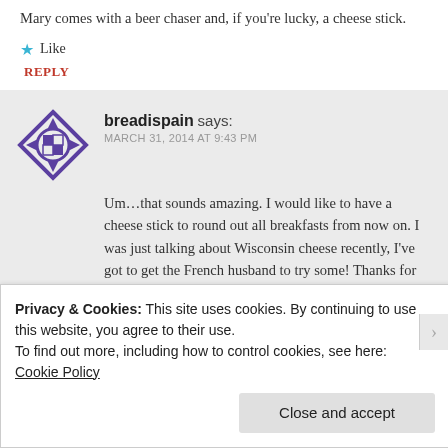Mary comes with a beer chaser and, if you're lucky, a cheese stick.
★ Like
REPLY
breadispain says:
MARCH 31, 2014 AT 9:43 PM
Um…that sounds amazing. I would like to have a cheese stick to round out all breakfasts from now on. I was just talking about Wisconsin cheese recently, I've got to get the French husband to try some! Thanks for reading…I'm so glad I'm not alone on this. 🙂
★ Like
Privacy & Cookies: This site uses cookies. By continuing to use this website, you agree to their use.
To find out more, including how to control cookies, see here: Cookie Policy
Close and accept